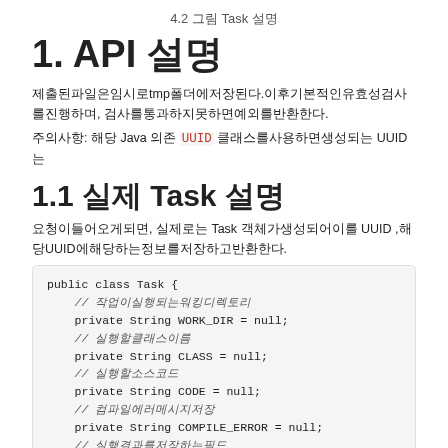4.2 그림 Task 설명
1. API 설명
제출된파일은임시로tmp폴더에저장된다.이후기본적인유효성검사를진행하며, 검사를통과하지못하면예외를반환한다.
주의사항: 해당 Java 의존 UUID 클래스를사용하면생성되는 UUID는
1.1 실제 Task 설명
요청이들어오게되면, 실제로는 Task 객체가생성되어이를 UUID ,해당UUID에해당하는정보를저장하고반환한다.
public class Task {
    // 작업이실행되는워킹디렉토리
    private String WORK_DIR = null;
    // 실행할클래스이름
    private String CLASS = null;
    // 실행할소스코드
    private String CODE = null;
    // 컴파일에러메시지저장
    private String COMPILE_ERROR = null;
    // 실행결과를저장하는필드